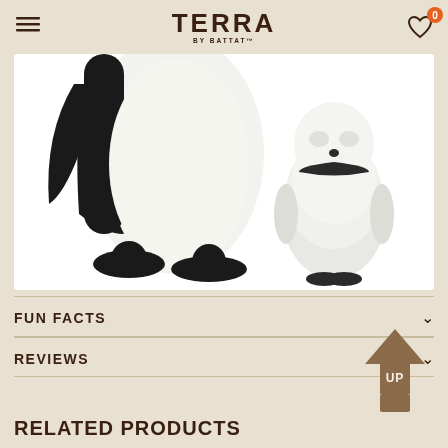TERRA by Battat — navigation header with menu, logo, and wishlist icon
[Figure (photo): Close-up photo of two penguin figurines on white background: left shows lower body and feet of adult penguin (black and white), right shows a small fluffy baby penguin chick (white/gray) standing upright]
FUN FACTS
REVIEWS
RELATED PRODUCTS